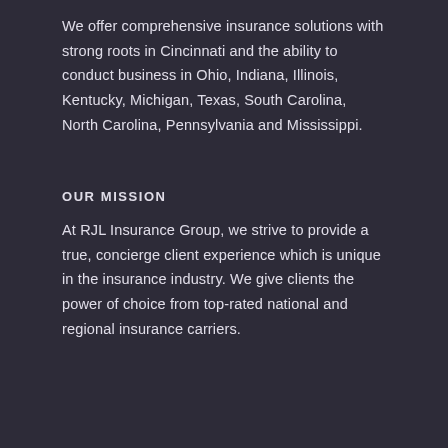We offer comprehensive insurance solutions with strong roots in Cincinnati and the ability to conduct business in Ohio, Indiana, Illinois, Kentucky, Michigan, Texas, South Carolina, North Carolina, Pennsylvania and Mississippi.
OUR MISSION
At RJL Insurance Group, we strive to provide a true, concierge client experience which is unique in the insurance industry. We give clients the power of choice from top-rated national and regional insurance carriers.